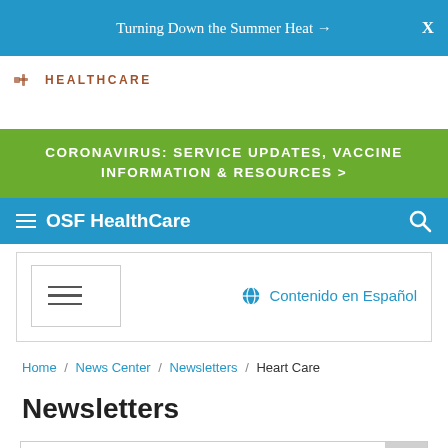Turning Down the Summer Heat →  X
[Figure (logo): OSF HealthCare logo with cross icon and text HEALTHCARE]
CORONAVIRUS: SERVICE UPDATES, VACCINE INFORMATION & RESOURCES >
≡ OSF HealthCare 🔍
≡  Contenido en Español
Home / News Center / Newsletters / Heart Care
Newsletters
Search Our Health Library